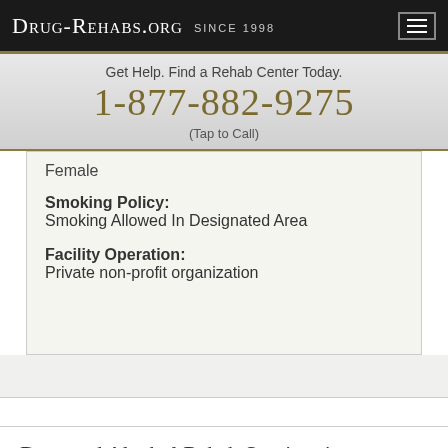Drug-Rehabs.org Since 1998
Get Help. Find a Rehab Center Today.
1-877-882-9275
(Tap to Call)
Female
Smoking Policy: Smoking Allowed In Designated Area
Facility Operation: Private non-profit organization
Drug and Alcohol Rehab Services in